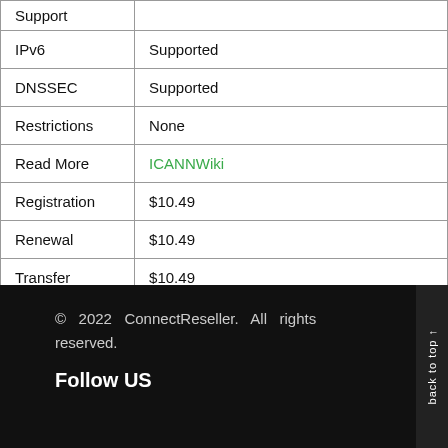| Feature | Value |
| --- | --- |
| Support |  |
| IPv6 | Supported |
| DNSSEC | Supported |
| Restrictions | None |
| Read More | ICANNWiki |
| Registration | $10.49 |
| Renewal | $10.49 |
| Transfer | $10.49 |
© 2022 ConnectReseller. All rights reserved.
Follow US